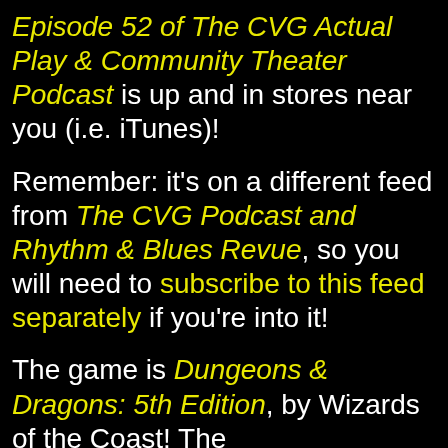Episode 52 of The CVG Actual Play & Community Theater Podcast is up and in stores near you (i.e. iTunes)!
Remember: it's on a different feed from The CVG Podcast and Rhythm & Blues Revue, so you will need to subscribe to this feed separately if you're into it!
The game is Dungeons & Dragons: 5th Edition, by Wizards of the Coast!  The